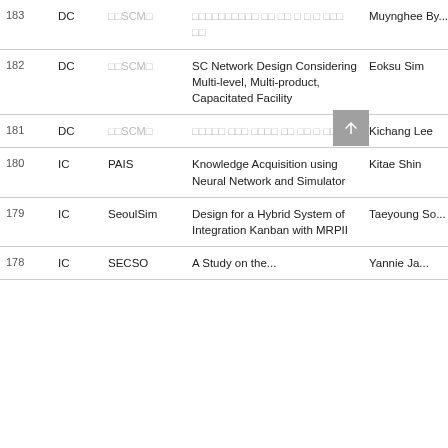| No. | Type | Category | Title | Author |
| --- | --- | --- | --- | --- |
| 183 | DC | □□SCM□ | (korean text) | Muynghee By... |
| 182 | DC | □□SCM□ | SC Network Design Considering Multi-level, Multi-product, Capacitated Facility | Eoksu Sim |
| 181 | DC | □□SCM□ | (korean text) | Kichang Lee |
| 180 | IC | PAIS | Knowledge Acquisition using Neural Network and Simulator | Kitae Shin |
| 179 | IC | SeoulSim | Design for a Hybrid System of Integration Kanban with MRPII | Taeyoung So... |
| 178 | IC | SECSO | A Study on the... | Yannie Ja... |